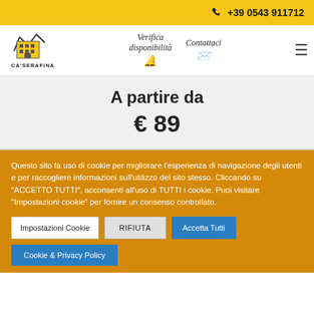+39 0543 911712
[Figure (logo): Ca' Serafina logo with building illustration and mountain/graph line above]
Verifica disponibilità
Contattaci
A partire da
€ 89
Questo sito fa uso di cookie per migliorare l'esperienza di navigazione degli utenti e per raccogliere informazioni sull'utilizzo del sito stesso. Cliccando su "ACCETTO TUTTI", acconsenti all'uso di TUTTI i cookie. Puoi visitare "Impostazioni cookie" per fornire un consenso controllato.
Impostazioni Cookie
RIFIUTA
Accetta Tutti
Cookie & Privacy Policy